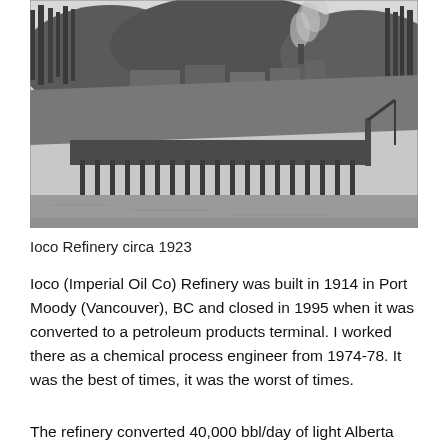[Figure (photo): Black and white photograph of Ioco Refinery circa 1923, showing industrial waterfront facilities with a dock/pier extending into water, industrial buildings and smokestacks on a hillside with trees in the background. Smoke rising from stacks.]
Ioco Refinery circa 1923
Ioco (Imperial Oil Co) Refinery was built in 1914 in Port Moody (Vancouver), BC and closed in 1995 when it was converted to a petroleum products terminal. I worked there as a chemical process engineer from 1974-78. It was the best of times, it was the worst of times.
The refinery converted 40,000 bbl/day of light Alberta